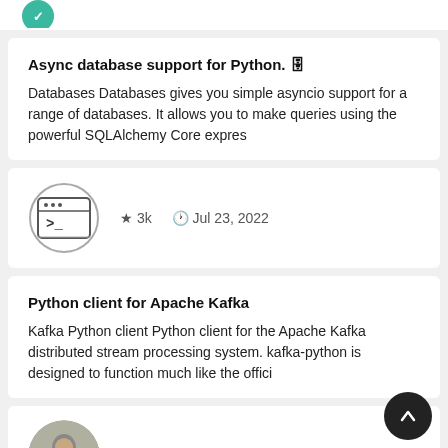[Figure (other): Teal/green circular logo icon partially visible at top]
Async database support for Python. 🗄
Databases Databases gives you simple asyncio support for a range of databases. It allows you to make queries using the powerful SQLAlchemy Core expres
[Figure (logo): Terminal/command prompt icon in a circle — shows >_ symbol]
★ 3k  🕐 Jul 23, 2022
Python client for Apache Kafka
Kafka Python client Python client for the Apache Kafka distributed stream processing system. kafka-python is designed to function much like the offici
[Figure (photo): Person photo avatar in a circle]
★ 4.9k  🕐 Jul 23, 2022